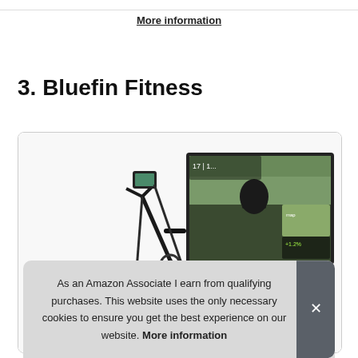More information
3. Bluefin Fitness
[Figure (photo): Product image of a Bluefin Fitness exercise bike with a screen, alongside a large monitor showing a cycling app with a rider on a trail.]
As an Amazon Associate I earn from qualifying purchases. This website uses the only necessary cookies to ensure you get the best experience on our website. More information